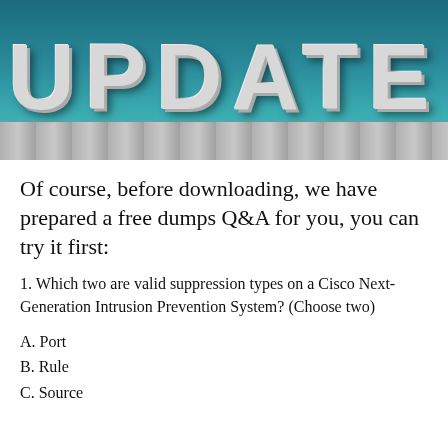[Figure (photo): Banner image with white 3D block letters spelling UPDATE on a teal/dark blue background with wooden floor planks below]
Of course, before downloading, we have prepared a free dumps Q&A for you, you can try it first:
1. Which two are valid suppression types on a Cisco Next-Generation Intrusion Prevention System? (Choose two)
A. Port
B. Rule
C. Source